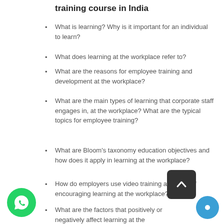training course in India
What is learning? Why is it important for an individual to learn?
What does learning at the workplace refer to?
What are the reasons for employee training and development at the workplace?
What are the main types of learning that corporate staff engages in, at the workplace? What are the typical topics for employee training?
What are Bloom's taxonomy education objectives and how does it apply in learning at the workplace?
How do employers use video training as a way of encouraging learning at the workplace?
What are the factors that positively or negatively affect learning at the workplace?
What are the methods employed by human resource managers and organizations…